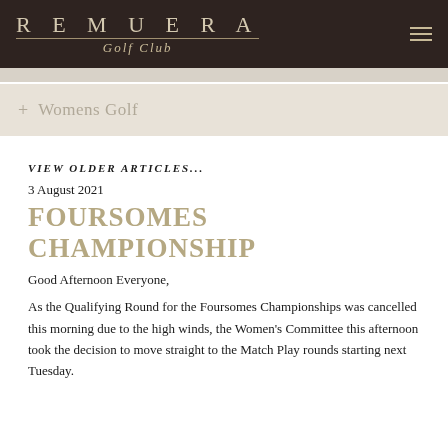REMUERA Golf Club
+ Womens Golf
VIEW OLDER ARTICLES...
3 August 2021
FOURSOMES CHAMPIONSHIP
Good Afternoon Everyone,
As the Qualifying Round for the Foursomes Championships was cancelled this morning due to the high winds, the Women's Committee this afternoon took the decision to move straight to the Match Play rounds starting next Tuesday.